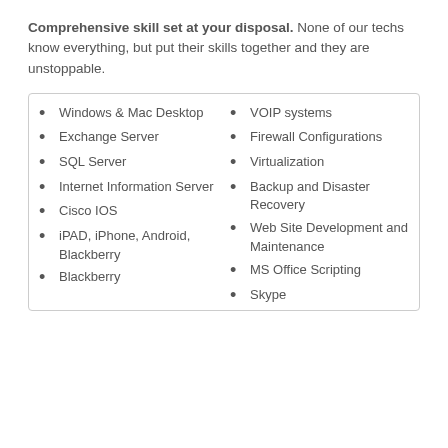Comprehensive skill set at your disposal. None of our techs know everything, but put their skills together and they are unstoppable.
Windows & Mac Desktop
Exchange Server
SQL Server
Internet Information Server
Cisco IOS
iPAD, iPhone, Android, Blackberry
Blackberry
VOIP systems
Firewall Configurations
Virtualization
Backup and Disaster Recovery
Web Site Development and Maintenance
MS Office Scripting
Skype